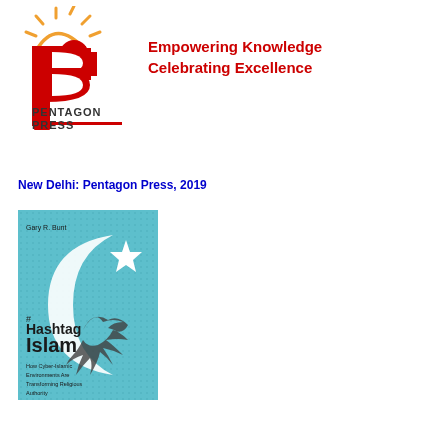[Figure (logo): Pentagon Press logo: red stylized double-P shape with sun rays above, text 'PENTAGON PRESS' below with red underline, and tagline 'Empowering Knowledge Celebrating Excellence' in red to the right]
New Delhi: Pentagon Press, 2019
[Figure (photo): Book cover of '#Hashtag Islam: How Cyber-Islamic Environments Are Transforming Religious Authority' by Gary R. Bunt, teal/cyan background with crescent moon, star, and decorative bird illustration]